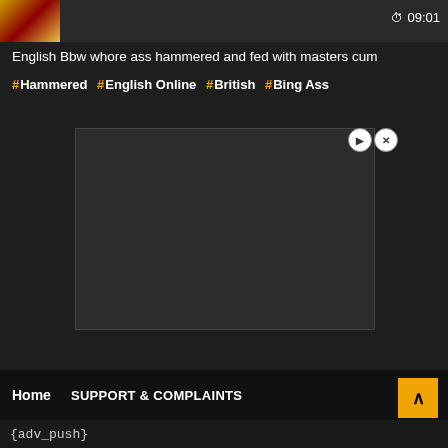[Figure (screenshot): Top video thumbnail bar with duration 09:01]
English Bbw whore ass hammered and fed with masters cum
# Hammered # English Online # British # Bing Ass
[Figure (other): Advertisement box - dark empty rectangle with close controls]
Home   SUPPORT & COMPLAINTS
{adv_push}